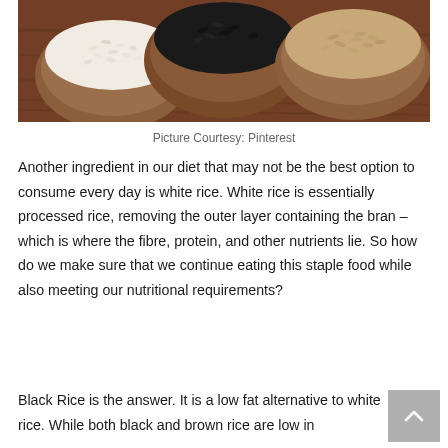[Figure (photo): Three wooden bowls containing different types of rice: white rice (left), black rice (center), and brown rice (right), placed on a wooden surface.]
Picture Courtesy: Pinterest
Another ingredient in our diet that may not be the best option to consume every day is white rice. White rice is essentially processed rice, removing the outer layer containing the bran – which is where the fibre, protein, and other nutrients lie. So how do we make sure that we continue eating this staple food while also meeting our nutritional requirements?
Black Rice is the answer. It is a low fat alternative to white rice. While both black and brown rice are low in